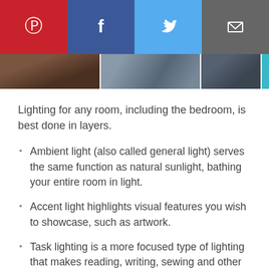[Figure (other): Social media share buttons bar: Pinterest (red), Facebook (blue), Twitter (light blue), Email (gray)]
[Figure (photo): Strip of three bedroom/room photos partially visible below the share bar]
Lighting for any room, including the bedroom, is best done in layers.
Ambient light (also called general light) serves the same function as natural sunlight, bathing your entire room in light.
Accent light highlights visual features you wish to showcase, such as artwork.
Task lighting is a more focused type of lighting that makes reading, writing, sewing and other tasks easier.
The most effective lighting plans incorporate all three types of lights to meet the needs of those using the room. As your build your layers of light, remember that bedroom lighting should create a peaceful, relaxing atmosphere using soft, flattering ambient light while